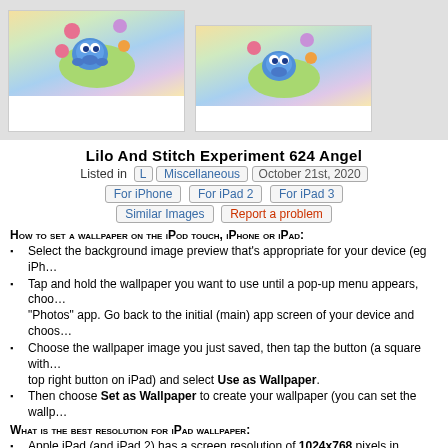[Figure (illustration): Two preview images of Lilo and Stitch wallpaper showing cartoon character Stitch with colorful flowers on a light background]
Lilo And Stitch Experiment 624 Angel
Listed in  L  Miscellaneous  October 21st, 2020
For iPhone  For iPad 2  For iPad 3
Similar Images  Report a problem
How to set a wallpaper on the iPod touch, iPhone or iPad:
Select the background image preview that’s appropriate for your device (eg iPh...
Tap and hold the wallpaper you want to use until a pop-up menu appears, choo... “Photos” app. Go back to the initial (main) app screen of your device and choos...
Choose the wallpaper image you just saved, then tap the button (a square with... top right button on iPad) and select Use as Wallpaper.
Then choose Set as Wallpaper to create your wallpaper (you can set the wallp...
What is the best resolution for iPad wallpaper:
Apple iPad (and iPad 2) has a screen resolution of 1024x768 pixels in landscap... respectively. When you rotate iPad, the wallpaper automatically adjusts to best... resolution will be 1024x1024 to accommodate both portrait and landscape moo...
Wallpaper Tags:  624  angel  experiment  lilo  miscellaneous
Share It!
Popularity Index: 9.1%
(Forums):  [url=http://1024x.net/70/-/Lilo_And